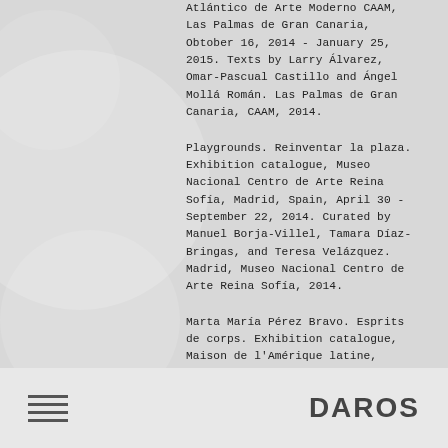Atlántico de Arte Moderno CAAM, Las Palmas de Gran Canaria, Obtober 16, 2014 - January 25, 2015. Texts by Larry Álvarez, Omar-Pascual Castillo and Ángel Mollá Román. Las Palmas de Gran Canaria, CAAM, 2014.
Playgrounds. Reinventar la plaza. Exhibition catalogue, Museo Nacional Centro de Arte Reina Sofía, Madrid, Spain, April 30 - September 22, 2014. Curated by Manuel Borja-Villel, Tamara Díaz-Bringas, and Teresa Velázquez. Madrid, Museo Nacional Centro de Arte Reina Sofía, 2014.
Marta María Pérez Bravo. Esprits de corps. Exhibition catalogue, Maison de l'Amérique latine, Paris, France, September 10 - December 10, 2013.
DAROS